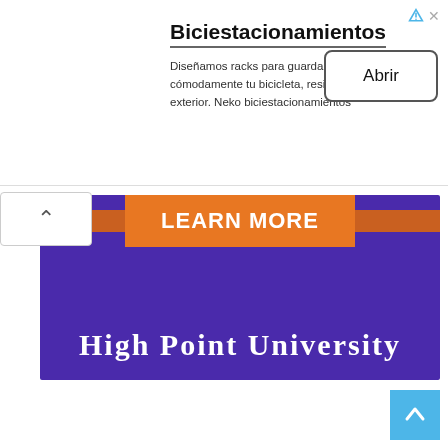Biciestacionamientos
Diseñamos racks para guardar cómodamente tu bicicleta, resistentes al exterior. Neko biciestacionamientos
[Figure (other): High Point University advertisement banner with purple background, orange Learn More button, and white university name text]
[Figure (other): Back to top arrow button in light blue]